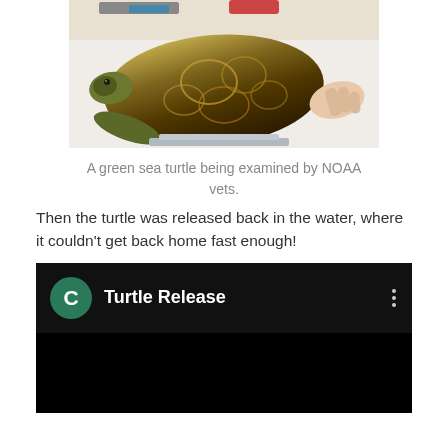[Figure (photo): A green sea turtle lying on a white surface being examined by a person, with medical tools visible in the background.]
A green sea turtle being examined by NOAA vets.
Then the turtle was released back in the water, where it couldn't get back home fast enough!
[Figure (screenshot): A YouTube video player thumbnail showing a video titled 'Turtle Release' with a green channel icon showing the letter C, and a three-dot menu icon on the right.]